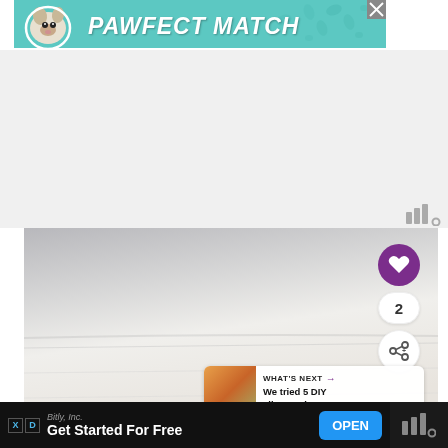[Figure (illustration): Advertisement banner: teal background with paw print pattern, dog illustration on left, bold italic white text reading 'PAWFECT MATCH', close X button in top-right corner]
[Figure (photo): Close-up photo of white/cream foam or paper material, light gray background at top, showing textured surface. Social interaction buttons overlay on right: purple heart button, count '2', white share button. 'What's Next' panel at bottom right showing thumbnail and text 'We tried 5 DIY slime recipe...']
[Figure (screenshot): Bottom advertisement bar on black background: 'Bitly, Inc.' company name in gray italic, 'Get Started For Free' in white bold, blue 'OPEN' button, Wurl logo on far right, ad marker X D icons on left]